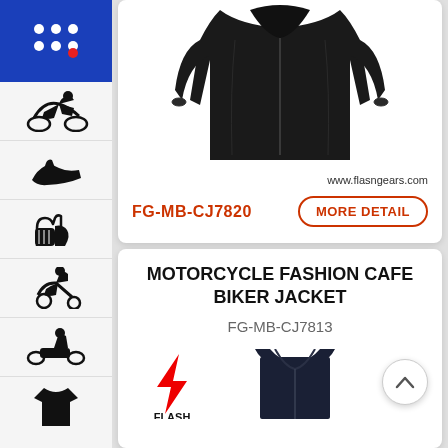[Figure (logo): Blue square logo with white dot grid pattern and red accent dot — Flash Gears brand logo]
[Figure (illustration): Black icon of a motorcycle racer leaning]
[Figure (illustration): Black icon of a running shoe/sneaker]
[Figure (illustration): Black icon of motorcycle gloves]
[Figure (illustration): Black icon of a motocross rider doing a jump]
[Figure (illustration): Black icon of a go-kart / karting rider]
[Figure (illustration): Black icon of a t-shirt]
[Figure (photo): Black leather motorcycle jacket displayed on white background - upper portion visible, arms extended]
www.flasngears.com
FG-MB-CJ7820
MORE DETAIL
MOTORCYCLE FASHION CAFE BIKER JACKET
FG-MB-CJ7813
[Figure (logo): Flash brand logo — red lightning bolt with FLASH text below]
[Figure (photo): Dark navy/black motorcycle jacket — lower portion shown at bottom of page]